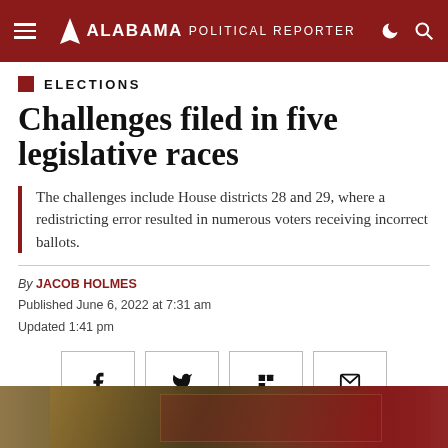ALABAMA POLITICAL REPORTER
ELECTIONS
Challenges filed in five legislative races
The challenges include House districts 28 and 29, where a redistricting error resulted in numerous voters receiving incorrect ballots.
By JACOB HOLMES
Published June 6, 2022 at 7:31 am
Updated 1:41 pm
[Figure (photo): Bottom strip showing a blurred outdoor scene with red and patriotic banners, likely election-related signage.]